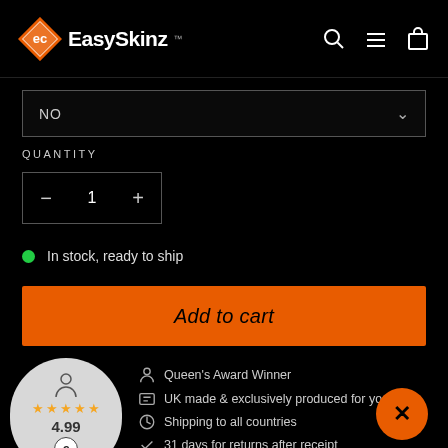[Figure (logo): EasySkinz logo with diamond shape and brand name, plus search, menu, and cart icons in header]
NO
QUANTITY
1
In stock, ready to ship
Add to cart
Queen's Award Winner
UK made & exclusively produced for you
Shipping to all countries
31 days for returns after receipt
[Figure (other): Review badge showing 4.99 rating with 5 stars and Ecwid e-commerce logo badge]
[Figure (other): Orange close/dismiss button with X]